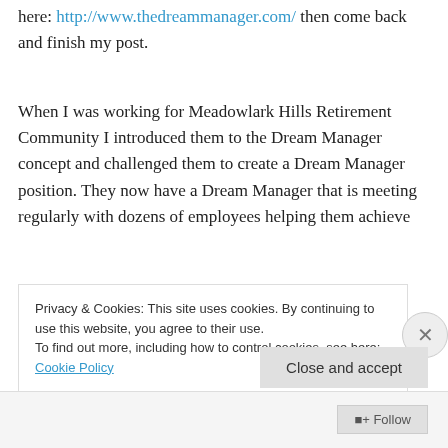here: http://www.thedreammanager.com/ then come back and finish my post.
When I was working for Meadowlark Hills Retirement Community I introduced them to the Dream Manager concept and challenged them to create a Dream Manager position. They now have a Dream Manager that is meeting regularly with dozens of employees helping them achieve
Privacy & Cookies: This site uses cookies. By continuing to use this website, you agree to their use.
To find out more, including how to control cookies, see here: Cookie Policy
Close and accept